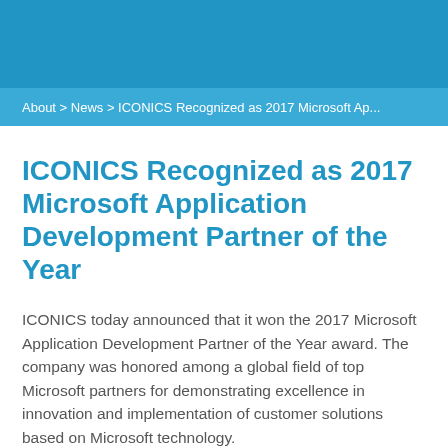About > News > ICONICS Recognized as 2017 Microsoft Ap...
ICONICS Recognized as 2017 Microsoft Application Development Partner of the Year
ICONICS today announced that it won the 2017 Microsoft Application Development Partner of the Year award. The company was honored among a global field of top Microsoft partners for demonstrating excellence in innovation and implementation of customer solutions based on Microsoft technology.